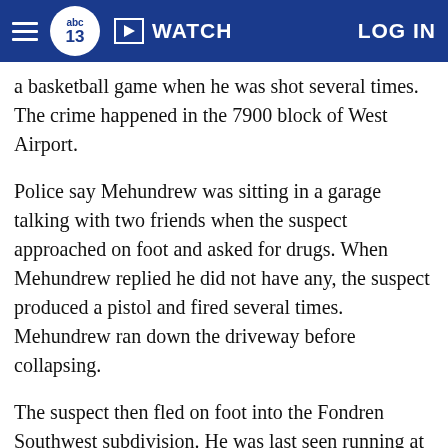abc13 WATCH LOG IN
a basketball game when he was shot several times. The crime happened in the 7900 block of West Airport.
Police say Mehundrew was sitting in a garage talking with two friends when the suspect approached on foot and asked for drugs. When Mehundrew replied he did not have any, the suspect produced a pistol and fired several times. Mehundrew ran down the driveway before collapsing.
The suspect then fled on foot into the Fondren Southwest subdivision. He was last seen running at the intersection of Secretariat and Sea Biscuit.
Sgt. Warren Meeler, with HPD Homicide, said, "He walks up to Marcus with an angry look on his face, according to the witness, and says 'Hey, do you know where I can get some